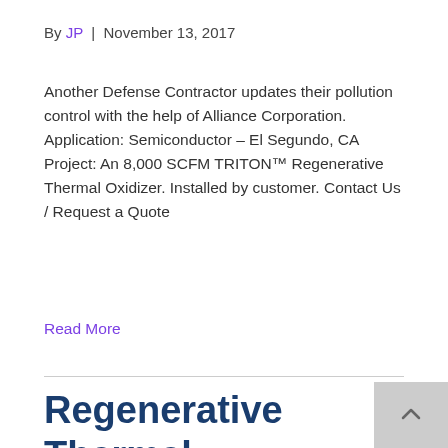By JP | November 13, 2017
Another Defense Contractor updates their pollution control with the help of Alliance Corporation. Application: Semiconductor – El Segundo, CA Project: An 8,000 SCFM TRITON™ Regenerative Thermal Oxidizer. Installed by customer. Contact Us / Request a Quote
Read More
Regenerative Thermal Oxidizer Installation #1019 Aero-Space Application in